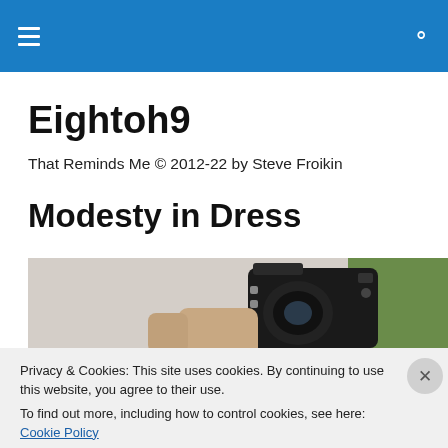Eightoh9 navigation bar with hamburger menu and search icon
Eightoh9
That Reminds Me © 2012-22 by Steve Froikin
Modesty in Dress
[Figure (photo): Close-up photo of a camera or electronic device being held, with grass visible in the background]
Privacy & Cookies: This site uses cookies. By continuing to use this website, you agree to their use.
To find out more, including how to control cookies, see here: Cookie Policy
Close and accept